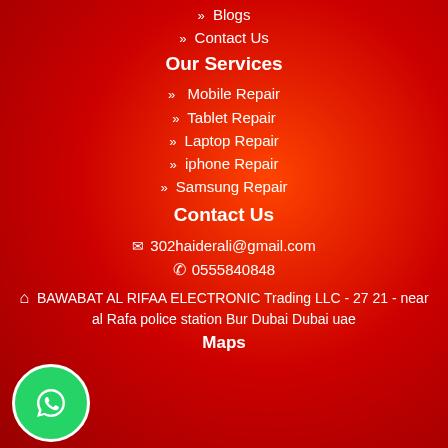» Blogs
» Contact Us
Our Services
» Mobile Repair
» Tablet Repair
» Laptop Repair
» iphone Repair
» Samsung Repair
Contact Us
✉ 302haiderali@gmail.com
✆ 0555840848
⌂ BAWABAT AL RIFAA ELECTRONIC Trading LLC - 27 21 - near al Rafa police station Bur Dubai Dubai uae
Maps
[Figure (logo): WhatsApp logo green circle button in bottom left corner]